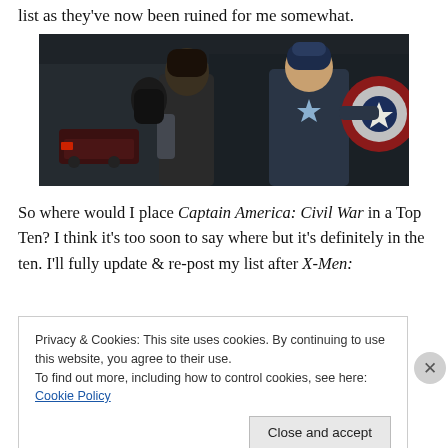list as they've now been ruined for me somewhat.
[Figure (photo): Movie still from Captain America: Civil War showing two characters — one in a dark jacket and one in the Captain America suit holding a shield with a star — in a dark urban setting.]
So where would I place Captain America: Civil War in a Top Ten? I think it's too soon to say where but it's definitely in the ten. I'll fully update & re-post my list after X-Men:
Privacy & Cookies: This site uses cookies. By continuing to use this website, you agree to their use.
To find out more, including how to control cookies, see here: Cookie Policy
Close and accept